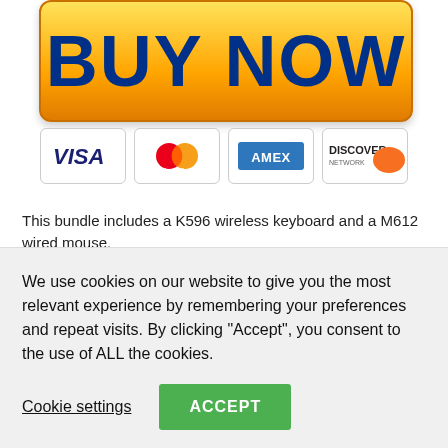[Figure (illustration): Yellow BUY NOW button with dark blue bold text, rounded corners, gradient background from yellow to orange]
[Figure (illustration): Payment method icons: VISA, MasterCard, AMEX, DISCOVER]
This bundle includes a K596 wireless keyboard and a M612 wired mouse.
K596 Keyboard: It features dual wired and wireless modes. Easy wireless setup with an included dongle that allows for low latency
We use cookies on our website to give you the most relevant experience by remembering your preferences and repeat visits. By clicking “Accept”, you consent to the use of ALL the cookies.
Cookie settings
ACCEPT